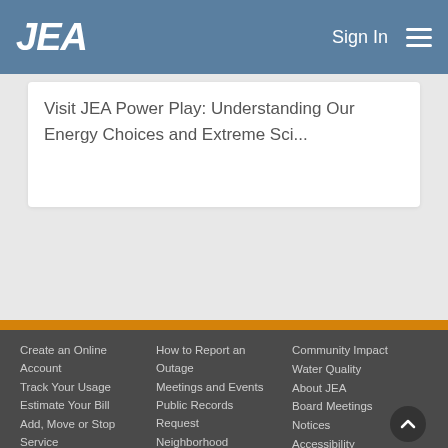JEA | Sign In
Visit JEA Power Play: Understanding Our Energy Choices and Extreme Sci...
Create an Online Account | Track Your Usage | Estimate Your Bill | Add, Move or Stop Service | Payment Locations | How to Report an Outage | Meetings and Events | Public Records Request | Neighborhood Construction | Media Relations | Community Impact | Water Quality | About JEA | Board Meetings | Notices | Accessibility | Trending Topics | (904) 665-6000